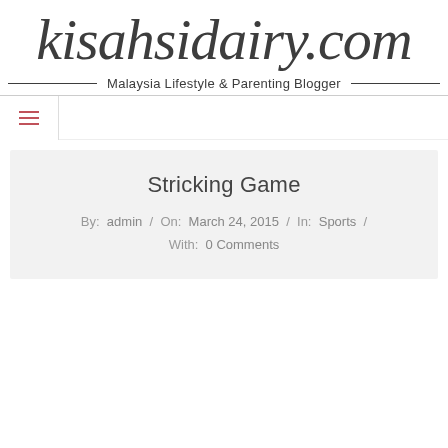kisahsidairy.com
Malaysia Lifestyle & Parenting Blogger
Stricking Game
By: admin / On: March 24, 2015 / In: Sports / With: 0 Comments